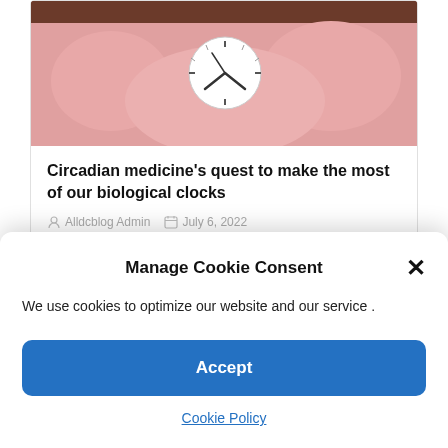[Figure (photo): Close-up photo of a tongue with a clock/watch face placed on it, pink tongue texture visible, brown background at top]
Circadian medicine's quest to make the most of our biological clocks
Alldcblog Admin   July 6, 2022
[Figure (photo): Partial view of a second article image showing what appears to be red berries or cherries and other food items]
Manage Cookie Consent
We use cookies to optimize our website and our service .
Accept
Cookie Policy